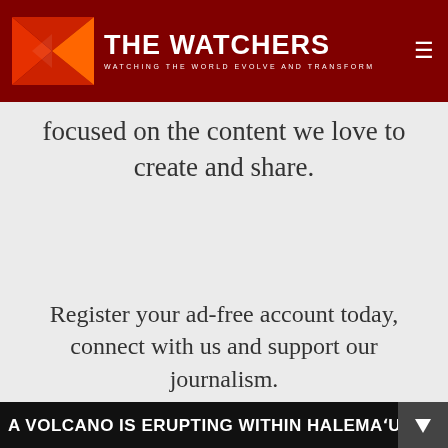THE WATCHERS — WATCHING THE WORLD EVOLVE AND TRANSFORM
focused on the content we love to create and share.
Register your ad-free account today, connect with us and support our journalism.
We use cookies on our website to give you the most relevant experience by remembering your preferences and repeat visits. By clicking “Accept”, you consent to the use of ALL the cookies.
Do not sell my personal information.
Cookie settings
Accept
Sign up
Co
Supp
A VOLCANO IS ERUPTING WITHIN HALEMAʻUMAʻU CRATER. TH